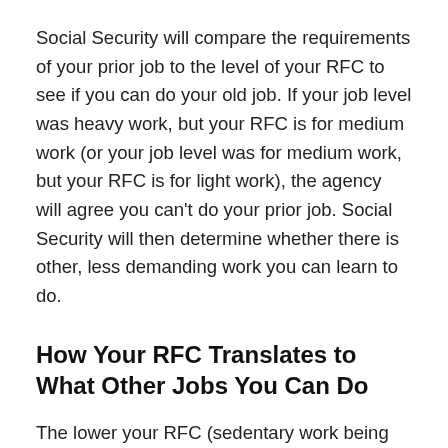Social Security will compare the requirements of your prior job to the level of your RFC to see if you can do your old job. If your job level was heavy work, but your RFC is for medium work (or your job level was for medium work, but your RFC is for light work), the agency will agree you can't do your prior job. Social Security will then determine whether there is other, less demanding work you can learn to do.
How Your RFC Translates to What Other Jobs You Can Do
The lower your RFC (sedentary work being low, heavy work being high), the fewer types of other jobs you can do. Social Security will take your RFC